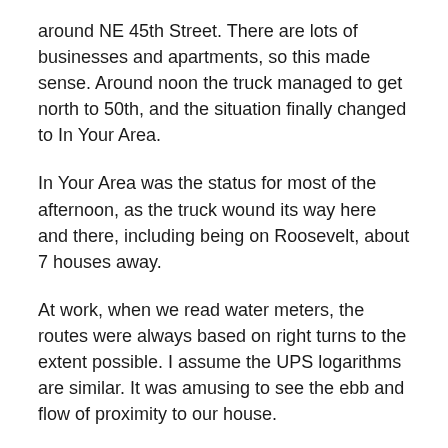around NE 45th Street. There are lots of businesses and apartments, so this made sense. Around noon the truck managed to get north to 50th, and the situation finally changed to In Your Area.
In Your Area was the status for most of the afternoon, as the truck wound its way here and there, including being on Roosevelt, about 7 houses away.
At work, when we read water meters, the routes were always based on right turns to the extent possible. I assume the UPS logarithms are similar. It was amusing to see the ebb and flow of proximity to our house.
Finally at 4:19, with the truck on NE 55th, the status changed to Almost There. Two right turns away.
I texted Carl. Oh ho the Wells Fargo truck is coming